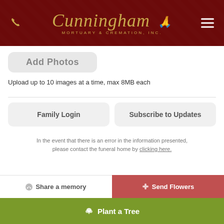[Figure (logo): Cunningham Mortuary & Cremation, Inc. logo with praying hands on dark red background header]
Add Photos
Upload up to 10 images at a time, max 8MB each
Family Login
Subscribe to Updates
In the event that there is an error in the information presented, please contact the funeral home by clicking here.
Share a memory
Send Flowers
Plant a Tree